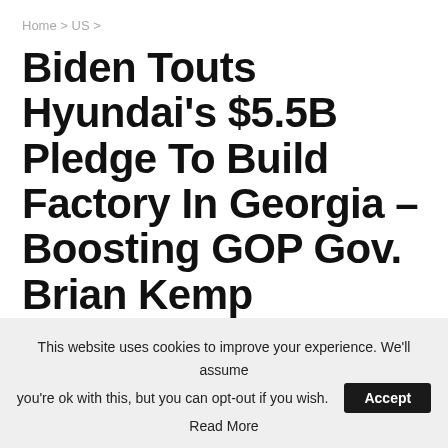Home > US >
Biden Touts Hyundai's $5.5B Pledge To Build Factory In Georgia – Boosting GOP Gov. Brian Kemp
By Jacky — On May 22, 2022
US
This website uses cookies to improve your experience. We'll assume you're ok with this, but you can opt-out if you wish. Accept Read More